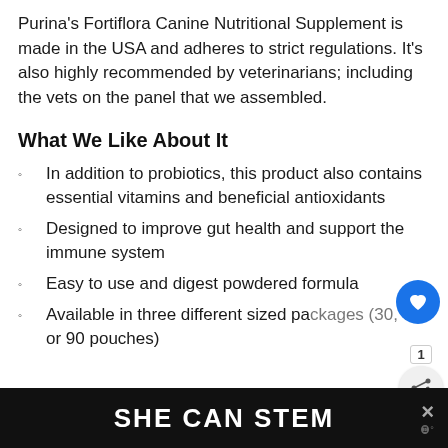Purina's Fortiflora Canine Nutritional Supplement is made in the USA and adheres to strict regulations. It's also highly recommended by veterinarians; including the vets on the panel that we assembled.
What We Like About It
In addition to probiotics, this product also contains essential vitamins and beneficial antioxidants
Designed to improve gut health and support the immune system
Easy to use and digest powdered formula
Available in three different sized packages (30, 60, or 90 pouches)
SHE CAN STEM